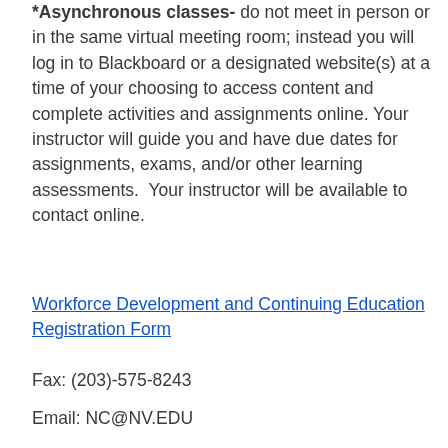**Asynchronous classes-** do not meet in person or in the same virtual meeting room; instead you will log in to Blackboard or a designated website(s) at a time of your choosing to access content and complete activities and assignments online. Your instructor will guide you and have due dates for assignments, exams, and/or other learning assessments.  Your instructor will be available to contact online.
Workforce Development and Continuing Education Registration Form
Fax: (203)-575-8243
Email: NC@NV.EDU